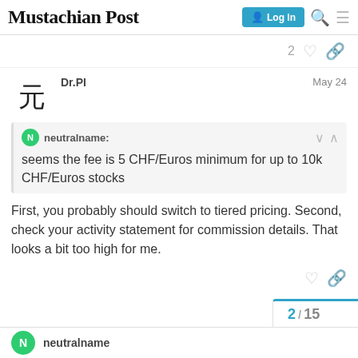Mustachian Post
2
Dr.PI — May 24
neutralname: seems the fee is 5 CHF/Euros minimum for up to 10k CHF/Euros stocks
First, you probably should switch to tiered pricing. Second, check your activity statement for commission details. That looks a bit too high for me.
2 / 15
neutralname